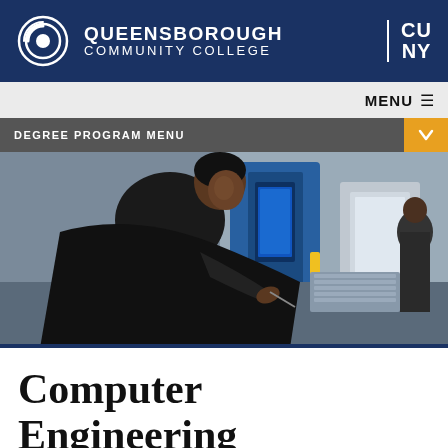QUEENSBOROUGH COMMUNITY COLLEGE | CUNY
MENU
DEGREE PROGRAM MENU
[Figure (photo): A man in a black shirt leaning over a workbench writing or working, with blue industrial machinery in the background]
Computer Engineering Technology